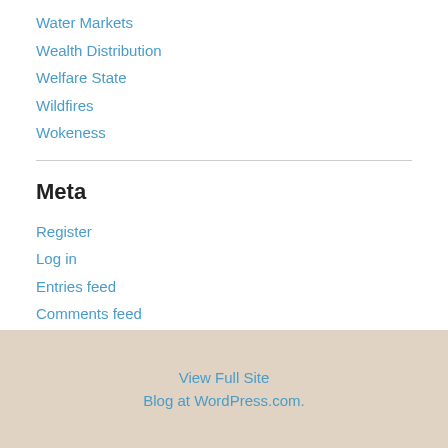Water Markets
Wealth Distribution
Welfare State
Wildfires
Wokeness
Meta
Register
Log in
Entries feed
Comments feed
WordPress.com
View Full Site
Blog at WordPress.com.